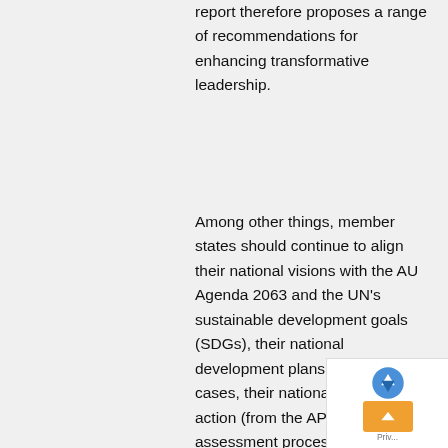report therefore proposes a range of recommendations for enhancing transformative leadership.
Among other things, member states should continue to align their national visions with the AU Agenda 2063 and the UN's sustainable development goals (SDGs), their national development plans and, in some cases, their national plans of action (from the APRM self-assessment process).
Members should also end all forms of discrimination and exclusion as well as promote democratic principles and institutions, popular participation and good governance; and, more